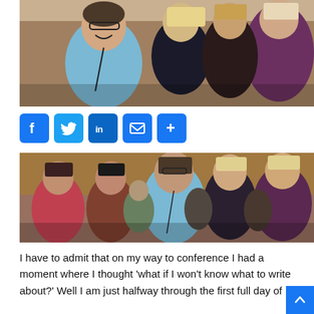[Figure (photo): Audience of people laughing and smiling at a conference, seated in rows, close-up shot from the side.]
[Figure (infographic): Social sharing buttons: Facebook, Twitter, LinkedIn, Email, More (plus icon), all in blue rounded squares.]
[Figure (photo): Wider view of conference audience laughing and smiling, man in light blue shirt prominent in center.]
I have to admit that on my way to conference I had a moment where I thought 'what if I won't know what to write about?' Well I am just halfway through the first full day of